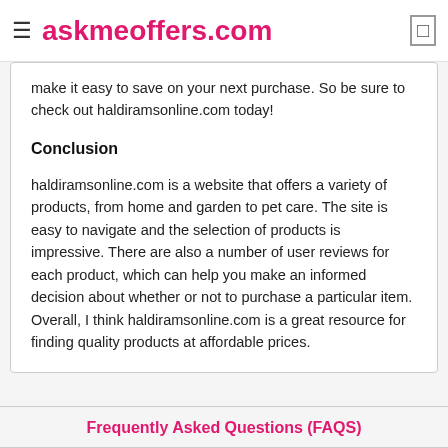askmeoffers.com
make it easy to save on your next purchase. So be sure to check out haldiramsonline.com today!
Conclusion
haldiramsonline.com is a website that offers a variety of products, from home and garden to pet care. The site is easy to navigate and the selection of products is impressive. There are also a number of user reviews for each product, which can help you make an informed decision about whether or not to purchase a particular item. Overall, I think haldiramsonline.com is a great resource for finding quality products at affordable prices.
Frequently Asked Questions (FAQS)